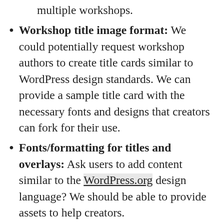multiple workshops.
Workshop title image format: We could potentially request workshop authors to create title cards similar to WordPress design standards. We can provide a sample title card with the necessary fonts and designs that creators can fork for their use.
Fonts/formatting for titles and overlays: Ask users to add content similar to the WordPress.org design language? We should be able to provide assets to help creators.
Slide format: If the presenter uses slides, can we provide them a slide format or a template that they can use? (in .key, .ppt or on Google slides format). The training team already has guidelines for slides, which we can potentially use for Learn. For workshops based on existing lesson plans, it would be useful to